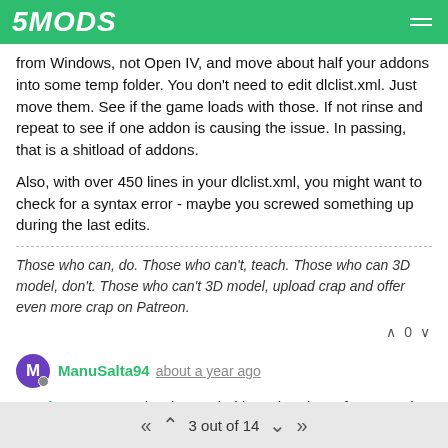5MODS
from Windows, not Open IV, and move about half your addons into some temp folder. You don't need to edit dlclist.xml. Just move them. See if the game loads with those. If not rinse and repeat to see if one addon is causing the issue. In passing, that is a shitload of addons.
Also, with over 450 lines in your dlclist.xml, you might want to check for a syntax error - maybe you screwed something up during the last edits.
Those who can, do. Those who can't, teach. Those who can 3D model, don't. Those who can't 3D model, upload crap and offer even more crap on Patreon.
0
ManuSalta94 about a year ago
@JohnFromGWN i've been tried but when i put, for example, ten files only, the game crash again, i take out that files (that before works perfectly) and put others 10, and this crash happen again, with the kind of files that before works perfectly. It's really strange, but i thing
3 out of 14